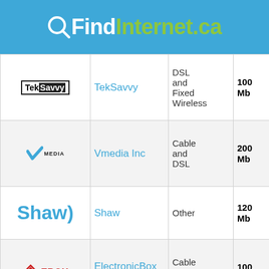QFindInternet.ca
| Logo | Name | Type | Speed |
| --- | --- | --- | --- |
| TekSavvy logo | TekSavvy | DSL and Fixed Wireless | 100 Mb |
| VMedia logo | Vmedia Inc | Cable and DSL | 200 Mb |
| Shaw logo | Shaw | Other | 120 Mb |
| EBOX logo | ElectronicBox Inc. | Cable and DSL | 100 Mb |
| Partial logo | Val... | DSL | 50 Mb |